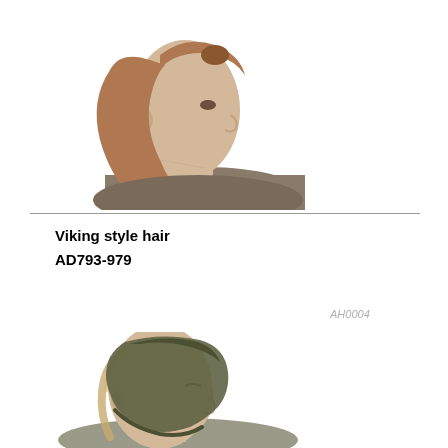[Figure (photo): Side profile of a woman with long reddish-brown hair pulled back in a half-up style with a small bun/clip at the crown, wearing a grey-brown knit sweater, white background]
Viking style hair
AD793-979
AH0004
[Figure (photo): Side profile of the same woman wearing a dark olive/grey cloth head covering or cap tied under the chin, with straight blonde hair visible, white background]